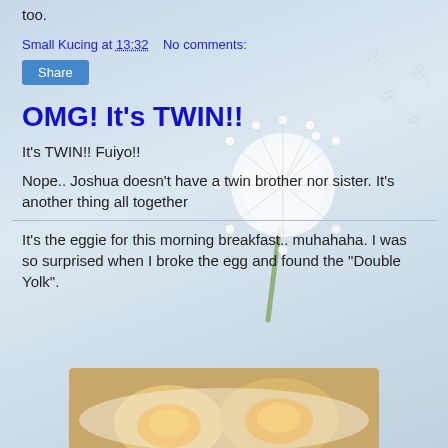too.
Small Kucing at 13:32   No comments:
Share
OMG! It's TWIN!!
It's TWIN!! Fuiyo!!
Nope.. Joshua doesn't have a twin brother nor sister. It's another thing all together
It's the eggie for this morning breakfast.. muhahaha. I was so surprised when I broke the egg and found the "Double Yolk".
[Figure (photo): A close-up photo of a fried egg with a double yolk on a plate, visible at the bottom of the page.]